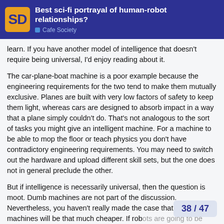Best sci-fi portrayal of human-robot relationships? — Cafe Society
learn. If you have another model of intelligence that doesn't require being universal, I'd enjoy reading about it.
The car-plane-boat machine is a poor example because the engineering requirements for the two tend to make them mutually exclusive. Planes are built with very low factors of safety to keep them light, whereas cars are designed to absorb impact in a way that a plane simply couldn't do. That's not analogous to the sort of tasks you might give an intelligent machine. For a machine to be able to mop the floor or teach physics you don't have contradictory engineering requirements. You may need to switch out the hardware and upload different skill sets, but the one does not in general preclude the other.
But if intelligence is necessarily universal, then the question is moot. Dumb machines are not part of the discussion. Nevertheless, you haven't really made the case that specialized machines will be that much cheaper. If rob… why would it pay to remove flexibility from… and it may not be dollar to dollar for it b…
38 / 47